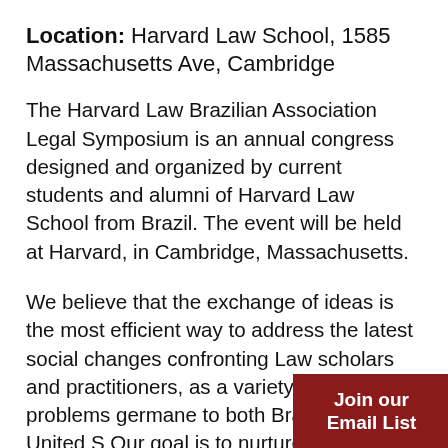Location: Harvard Law School, 1585 Massachusetts Ave, Cambridge
The Harvard Law Brazilian Association Legal Symposium is an annual congress designed and organized by current students and alumni of Harvard Law School from Brazil. The event will be held at Harvard, in Cambridge, Massachusetts.
We believe that the exchange of ideas is the most efficient way to address the latest social changes confronting Law scholars and practitioners, as a variety of legal problems germane to both Brazil and the United States. Our goal is to nurture a unique opportunity for networking and learning, sharing insights on the
Join our Email List